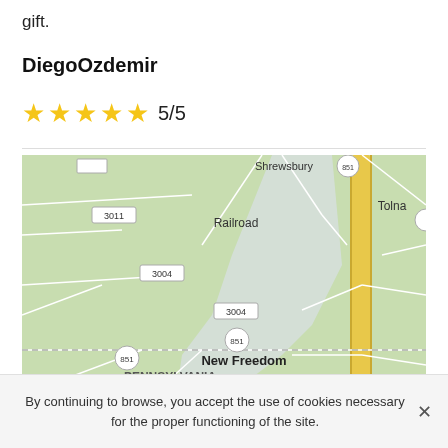gift.
DiegoOzdemir
★★★★★ 5/5
[Figure (map): Google Maps view showing New Freedom area in Pennsylvania/Maryland border region, with roads labeled 3011, 3004, 851, places Shrewsbury, Railroad, Tolna, New Freedom, PENNSYLVANIA, MARYLAND, Maryland Line, and Interstate 83 highway shown as a yellow/gold road on the right side.]
By continuing to browse, you accept the use of cookies necessary for the proper functioning of the site.